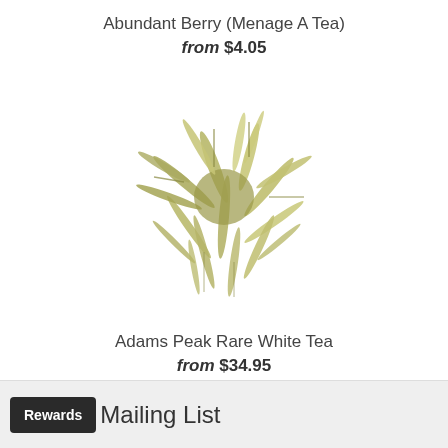Abundant Berry (Menage A Tea)
from $4.05
[Figure (photo): Loose leaf white/green tea leaves piled in a circular mound on a white background]
Adams Peak Rare White Tea
from $34.95
Rewards  Mailing List